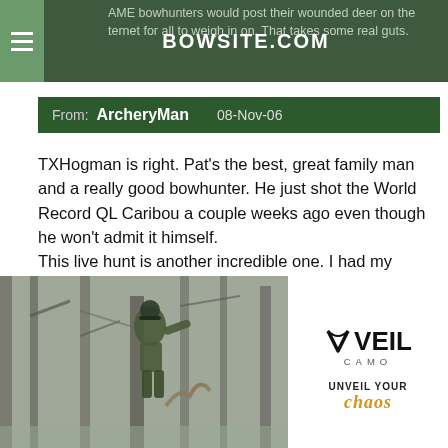BOWSITE.COM
AME bowhunters would post their wounded deer on the internet for all to weigh in on. That takes some real guts.
From:  ArcheryMan   08-Nov-06
TXHogman is right. Pat's the best, great family man and a really good bowhunter. He just shot the World Record QL Caribou a couple weeks ago even though he won't admit it himself.
This live hunt is another incredible one. I had my doubts when I saw him post his wound. I didn't think that was a smart move. But after seeing what they did to recover it, and then proving that the deer is fine is actually a greater message than Pat
[Figure (photo): Advertisement for Veil Camo showing a hunter in camouflage gear climbing or positioned in a tree stand in a wooded winter setting. Text reads VEIL CAMO - UNVEIL YOUR CHAOS]